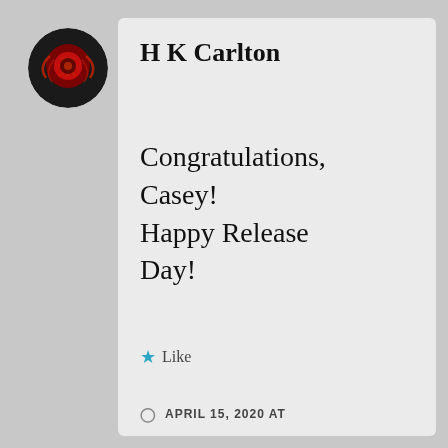[Figure (logo): Circular avatar with red and black graphic design on dark background]
H K Carlton
Congratulations, Casey! Happy Release Day!
★ Like
APRIL 15, 2020 AT